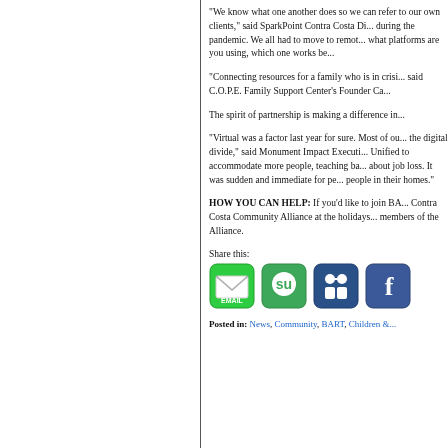“We know what one another does so we can refer to our own clients,” said SparkPoint Contra Costa Di... during the pandemic. We all had to move to remot... what platforms are you using, which one works be...
“Connecting resources for a family who is in crisi... said C.O.P.E. Family Support Center’s Founder Ca...
The spirit of partnership is making a difference in...
“Virtual was a factor last year for sure. Most of ou... the digital divide,” said Monument Impact Executi... Unified to accommodate more people, teaching ba... about job loss. It was sudden and immediate for pe... people in their homes.”
HOW YOU CAN HELP: If you’d like to join BA... Contra Costa Community Alliance at the holidays... members of the Alliance.
Share this:
[Figure (other): Social sharing icons: Email, StumbleUpon, LinkedIn/community, Facebook]
Posted in: News, Community, BART, Children &...